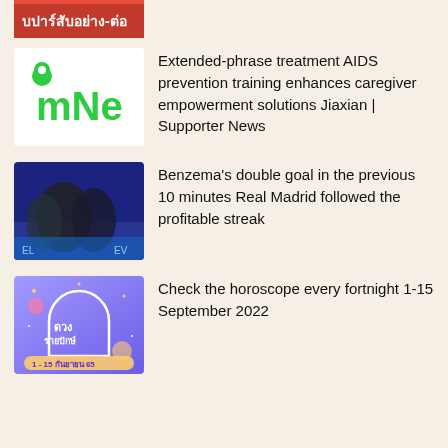[Figure (screenshot): Thumbnail image with Thai text on red/orange background - partial view at top]
[Figure (logo): Green mNe logo on white background]
Extended-phrase treatment AIDS prevention training enhances caregiver empowerment solutions Jiaxian | Supporter News
[Figure (photo): Soccer players celebrating on field]
Benzema's double goal in the previous 10 minutes Real Madrid followed the profitable streak
[Figure (illustration): Horoscope fortnight graphic with Thai text: ดวงรายปักษ์ 1-15 กันยายน 65]
Check the horoscope every fortnight 1-15 September 2022